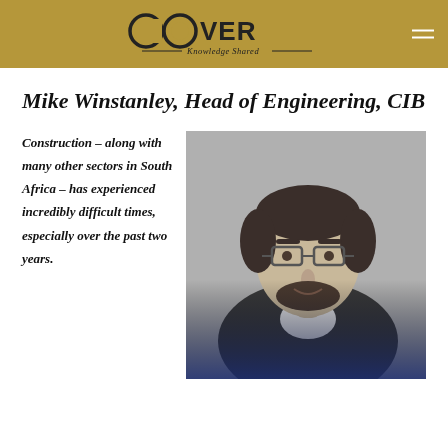COVER Knowledge Shared
Mike Winstanley, Head of Engineering, CIB
Construction – along with many other sectors in South Africa – has experienced incredibly difficult times, especially over the past two years.
[Figure (photo): Black and white professional headshot of Mike Winstanley, a man with glasses and a beard wearing a suit jacket and white shirt, with a blue gradient overlay at the bottom.]